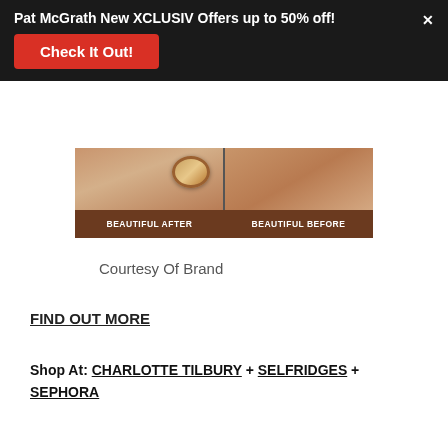Pat McGrath New XCLUSIV Offers up to 50% off!
Check It Out!
[Figure (photo): Before and after comparison image showing a woman holding a Charlotte Tilbury compact on the left labeled BEAUTIFUL AFTER, and a woman's neck/décolletage on the right labeled BEAUTIFUL BEFORE, with a brown bar at the bottom.]
Courtesy Of Brand
FIND OUT MORE
Shop At: CHARLOTTE TILBURY + SELFRIDGES + SEPHORA